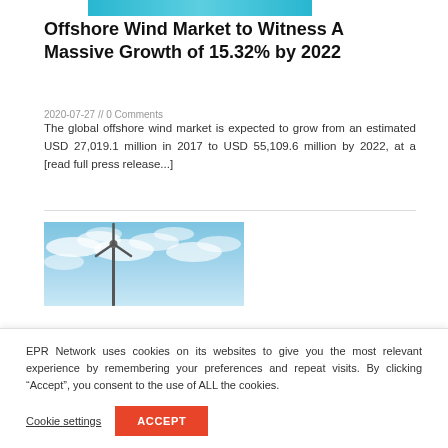[Figure (photo): Partial cyan/teal colored image bar at the top, appears to be a cropped portion of a wind energy related image]
Offshore Wind Market to Witness A Massive Growth of 15.32% by 2022
2020-07-27 // 0 Comments
The global offshore wind market is expected to grow from an estimated USD 27,019.1 million in 2017 to USD 55,109.6 million by 2022, at a [read full press release...]
[Figure (photo): Wind turbine against a blue cloudy sky, offshore wind energy photo]
EPR Network uses cookies on its websites to give you the most relevant experience by remembering your preferences and repeat visits. By clicking “Accept”, you consent to the use of ALL the cookies.